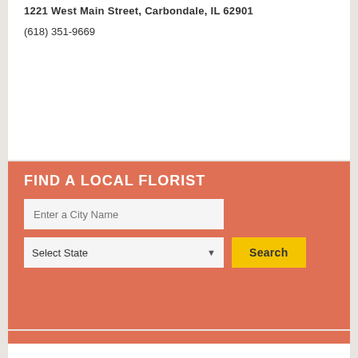1221 West Main Street, Carbondale, IL 62901
(618) 351-9669
FIND A LOCAL FLORIST
Enter a City Name
Select State
Search
Enter Zip Code
Search